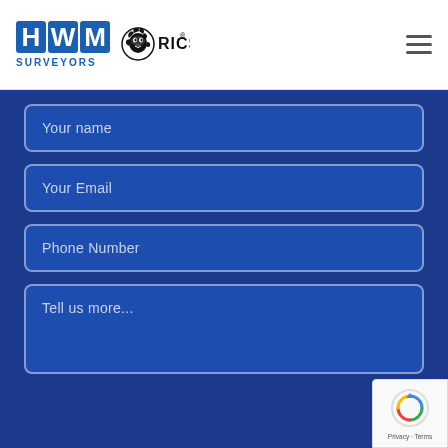[Figure (logo): HWM Surveyors logo with blue letter boxes H, W, M and text SURVEYORS below, alongside RICS lion logo]
Your name
Your Email
Phone Number
Tell us more...
[Figure (other): reCAPTCHA badge with spinning logo, Privacy and Terms links]